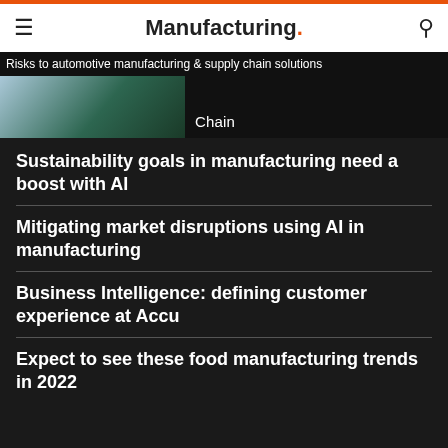Manufacturing.
Risks to automotive manufacturing & supply chain solutions
[Figure (photo): Partial image of manufacturing/automotive content with 'Chain' label overlay on dark background]
Sustainability goals in manufacturing need a boost with AI
Mitigating market disruptions using AI in manufacturing
Business Intelligence: defining customer experience at Accu
Expect to see these food manufacturing trends in 2022